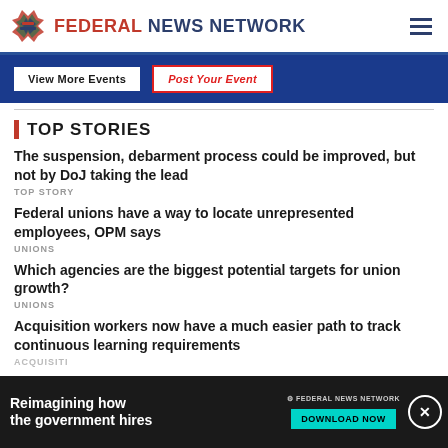FEDERAL NEWS NETWORK
[Figure (screenshot): Blue banner with View More Events and Post Your Event buttons]
TOP STORIES
The suspension, debarment process could be improved, but not by DoJ taking the lead
Federal unions have a way to locate unrepresented employees, OPM says
Which agencies are the biggest potential targets for union growth?
Acquisition workers now have a much easier path to track continuous learning requirements
Fauci to...
[Figure (screenshot): Advertisement banner: Reimagining how the government hires — Federal News Network — Download Now]